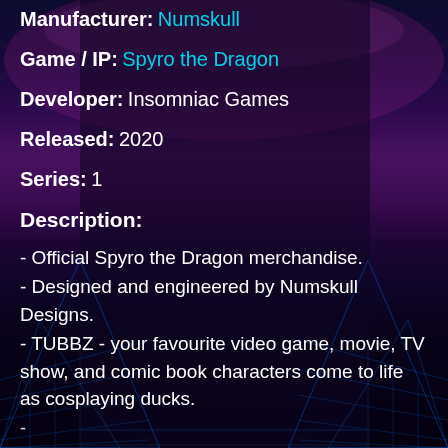Manufacturer: Numskull
Game / IP: Spyro the Dragon
Developer: Insomniac Games
Released: 2020
Series: 1
Description:
- Official Spyro the Dragon merchandise.
- Designed and engineered by Numskull Designs.
- TUBBZ - your favourite video game, movie, TV show, and comic book characters come to life as cosplaying ducks.